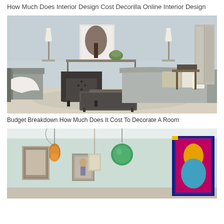How Much Does Interior Design Cost Decorilla Online Interior Design
[Figure (photo): Elegant living room with grey sofas, dark tufted armchair, dark upholstered ottoman, white throw blanket, floor lamps, decorative artwork, and a folding screen in the background. Neutral color palette with light blue walls.]
Budget Breakdown How Much Does It Cost To Decorate A Room
[Figure (photo): Room interior with colorful pendant lights including an amber and green globe light, wall art with colorful poster of a figure, framed pictures on the wall, light teal/mint walls.]